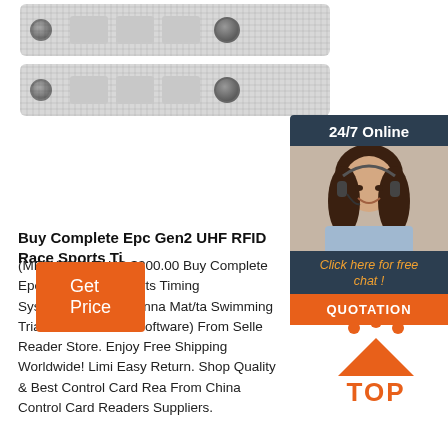[Figure (photo): Two white RFID laundry tags/wristbands with eyelets and chips, shown stacked]
[Figure (infographic): 24/7 Online customer service chat widget with a woman wearing a headset, orange QUOTATION button, and 'Click here for free chat!' CTA]
Buy Complete Epc Gen2 UHF RFID Race Sports Ti
(MEGA SALE) US $300.00 Buy Complete Epc Gen2 Race Sports Timing System(Reader/Antenna Mat/ta Swimming Triathlon With Free Software) From Selle Reader Store. Enjoy Free Shipping Worldwide! Limi Easy Return. Shop Quality & Best Control Card Rea From China Control Card Readers Suppliers.
[Figure (infographic): Orange 'Get Price' button]
[Figure (infographic): Orange TOP icon with dots and triangle arrow pointing upward]